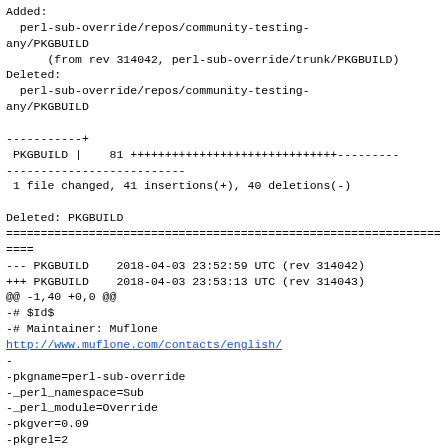Added:
  perl-sub-override/repos/community-testing-any/PKGBUILD
      (from rev 314042, perl-sub-override/trunk/PKGBUILD)
Deleted:
  perl-sub-override/repos/community-testing-any/PKGBUILD

-----------+
 PKGBUILD |    81 ++++++++++++++++++++++++++++++---------
--------------------------
 1 file changed, 41 insertions(+), 40 deletions(-)

Deleted: PKGBUILD
===================================================================
--- PKGBUILD	2018-04-03 23:52:59 UTC (rev 314042)
+++ PKGBUILD	2018-04-03 23:53:13 UTC (rev 314043)
@@ -1,40 +0,0 @@
-# $Id$
-# Maintainer: Muflone
http://www.muflone.com/contacts/english/
-
-pkgname=perl-sub-override
-_perl_namespace=Sub
-_perl_module=Override
-pkgver=0.09
-pkgrel=2
-pkgdesc="Perl extension for easily overriding subroutines"
-arch=('any')